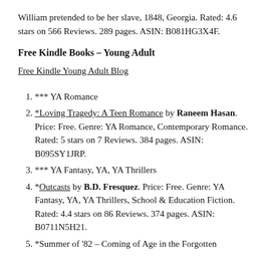William pretended to be her slave, 1848, Georgia. Rated: 4.6 stars on 566 Reviews. 289 pages. ASIN: B081HG3X4F.
Free Kindle Books – Young Adult
Free Kindle Young Adult Blog
*** YA Romance
*Loving Tragedy: A Teen Romance by Raneem Hasan. Price: Free. Genre: YA Romance, Contemporary Romance. Rated: 5 stars on 7 Reviews. 384 pages. ASIN: B095SY1JRP.
*** YA Fantasy, YA, YA Thrillers
*Outcasts by B.D. Fresquez. Price: Free. Genre: YA Fantasy, YA, YA Thrillers, School & Education Fiction. Rated: 4.4 stars on 86 Reviews. 374 pages. ASIN: B0711N5H21.
*Summer of '82 – Coming of Age in the Forgotten